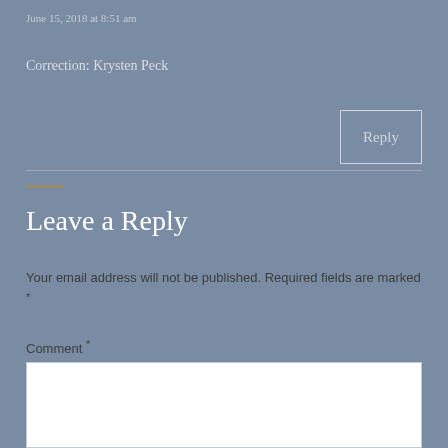June 15, 2018 at 8:51 am
Correction: Krysten Peck
Reply
Leave a Reply
Your email address will not be published. Required fields are marked *
Comment *